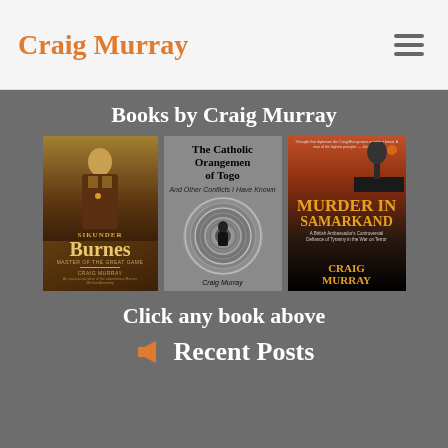Craig Murray
Books by Craig Murray
[Figure (photo): Three book covers by Craig Murray: 'Sikunder Burnes: Master of the Great Game', 'The Catholic Orangemen of Togo And Other Conflicts I Have Known', and 'Murder in Samarkand: A British Ambassador's Controversial Defiance of Tyranny in the War on Terror']
Click any book above
Recent Posts
The Great Clutching at Pearls
Ever Further Right